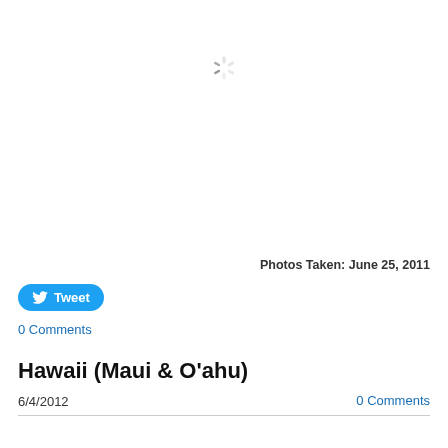[Figure (other): Loading spinner icon (circular dashed/radial lines indicating content loading)]
Photos Taken: June 25, 2011
Tweet
0 Comments
Hawaii (Maui & O'ahu)
6/4/2012
0 Comments